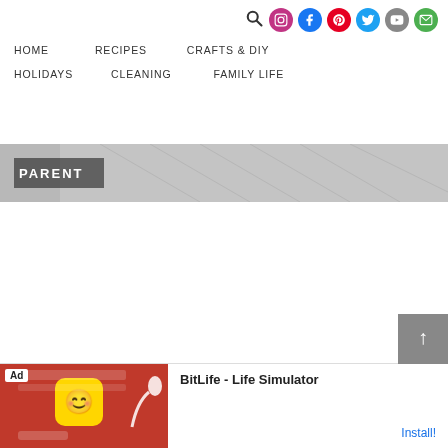Navigation icons: Search, Instagram, Facebook, Pinterest, Twitter, YouTube, Email
HOME   RECIPES   CRAFTS & DIY   HOLIDAYS   CLEANING   FAMILY LIFE
[Figure (photo): Banner image with partially visible text PARENT on a gray/white background with diagonal lines]
[Figure (screenshot): Ad banner for BitLife - Life Simulator app with Install button and app icon]